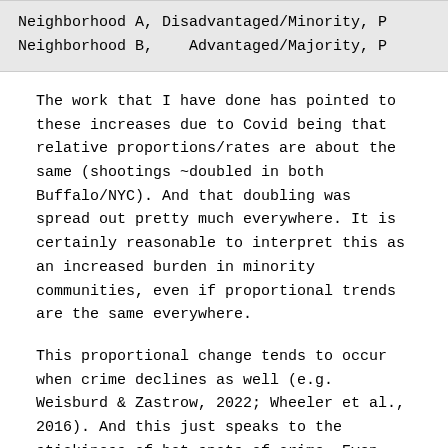Neighborhood A, Disadvantaged/Minority, P
Neighborhood B,    Advantaged/Majority, P
The work that I have done has pointed to these increases due to Covid being that relative proportions/rates are about the same (shootings ~doubled in both Buffalo/NYC). And that doubling was spread out pretty much everywhere. It is certainly reasonable to interpret this as an increased burden in minority communities, even if proportional trends are the same everywhere.
This proportional change tends to occur when crime declines as well (e.g. Weisburd & Zastrow, 2022; Wheeler et al., 2016). And this just speaks to the stickiness of hot spots of crime. Even with large macro changes in temporal crime trends, crime hot spots are very durable over time. So I really think it makes the most sense for police